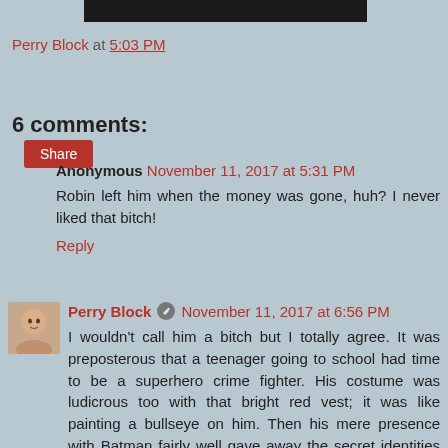[Figure (photo): Partial dark/black image strip at top of page]
Perry Block at 5:03 PM
Share
6 comments:
Anonymous November 11, 2017 at 5:31 PM
Robin left him when the money was gone, huh? I never liked that bitch!
Reply
[Figure (photo): Small avatar photo of Perry Block]
Perry Block ✏ November 11, 2017 at 6:56 PM
I wouldn't call him a bitch but I totally agree. It was preposterous that a teenager going to school had time to be a superhero crime fighter. His costume was ludicrous too with that bright red vest; it was like painting a bullseye on him. Then his mere presence with Batman fairly well gave away the secret identities of Bruce Wayne and Dick